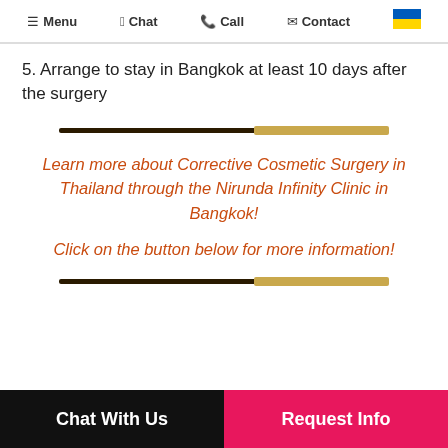≡ Menu  🐾 Chat  📞 Call  ✉ Contact
5. Arrange to stay in Bangkok at least 10 days after the surgery
[Figure (illustration): Decorative gold and dark horizontal divider bar]
Learn more about Corrective Cosmetic Surgery in Thailand through the Nirunda Infinity Clinic in Bangkok!
Click on the button below for more information!
[Figure (illustration): Decorative gold and dark horizontal divider bar]
Chat With Us   Request Info